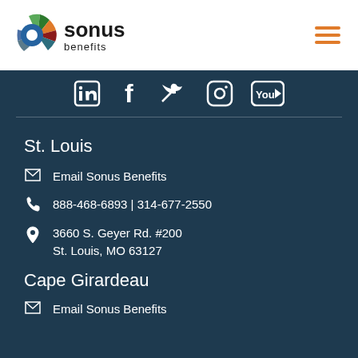[Figure (logo): Sonus Benefits logo with colorful pinwheel/fan icon and bold text 'sonus benefits']
[Figure (infographic): Social media icons: LinkedIn, Facebook, Twitter, Instagram, YouTube on dark background]
St. Louis
Email Sonus Benefits
888-468-6893  |  314-677-2550
3660 S. Geyer Rd. #200
St. Louis, MO 63127
Cape Girardeau
Email Sonus Benefits